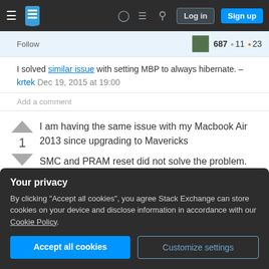Stack Exchange navigation bar with hamburger menu, logo, help, chat, search icons, Log in and Sign up buttons
Follow   687 • 11 • 23
I solved similar issue with setting MBP to always hibernate. – krtek Dec 19, 2015 at 19:00
Add a comment
I am having the same issue with my Macbook Air 2013 since upgrading to Mavericks

SMC and PRAM reset did not solve the problem.
Your privacy
By clicking "Accept all cookies", you agree Stack Exchange can store cookies on your device and disclose information in accordance with our Cookie Policy.
[Accept all cookies] [Customize settings]